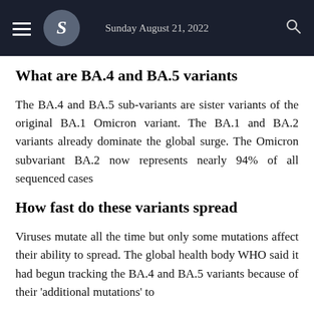Sunday August 21, 2022
What are BA.4 and BA.5 variants
The BA.4 and BA.5 sub-variants are sister variants of the original BA.1 Omicron variant. The BA.1 and BA.2 variants already dominate the global surge. The Omicron subvariant BA.2 now represents nearly 94% of all sequenced cases
How fast do these variants spread
Viruses mutate all the time but only some mutations affect their ability to spread. The global health body WHO said it had begun tracking the BA.4 and BA.5 variants because of their 'additional mutations' to